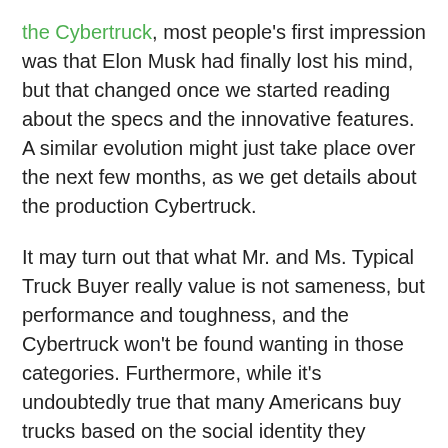the Cybertruck, most people's first impression was that Elon Musk had finally lost his mind, but that changed once we started reading about the specs and the innovative features. A similar evolution might just take place over the next few months, as we get details about the production Cybertruck.
It may turn out that what Mr. and Ms. Typical Truck Buyer really value is not sameness, but performance and toughness, and the Cybertruck won't be found wanting in those categories. Furthermore, while it's undoubtedly true that many Americans buy trucks based on the social identity they signal, many others buy them for practical reasons. A whole lot of drivers choose pickups because they need them for work or for play, and they may not make as much of Cybertruck's novel appearance as the media has.